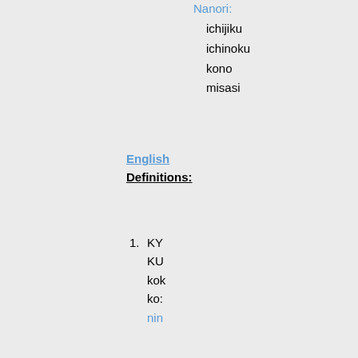Nanori:
ichijiku
ichinoku
kono
misasi
English Definitions:
KY
KU
kok
ko:
nin
Unicode Encoded Version:
[Figure (other): Unicode encoded kanji character displayed in a bordered box]
Unicode Encoded Compound Examples:
〔
〕
(kyuuiyuu)